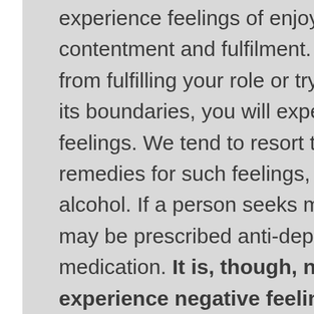experience feelings of enjoyment, exhilaration, contentment and fulfilment. If you are prevented from fulfilling your role or try to operate beyond its boundaries, you will experience negative feelings. We tend to resort to short-term remedies for such feelings, like coffee or alcohol. If a person seeks medical advice, he may be prescribed anti-depressants or other medication. It is, though, natural to experience negative feelings. They tell us when we are lacking in stimulation, carrying out inappropriate tasks or failing to invest sufficiently in our support networks. They are therefore